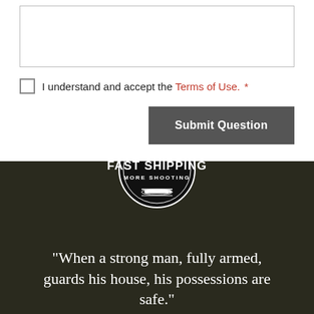[textarea input field]
I understand and accept the Terms of Use. *
Submit Question
[Figure (logo): A circular badge/seal with serrated edge. Text reads: LESS WAITING / FAST SHIPPING / MORE SHOOTING with a bullet graphic at bottom.]
“When a strong man, fully armed, guards his house, his possessions are safe.”